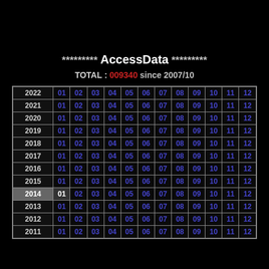********* AccessData *********
TOTAL : 009340 since 2007/10
| Year | 01 | 02 | 03 | 04 | 05 | 06 | 07 | 08 | 09 | 10 | 11 | 12 |
| --- | --- | --- | --- | --- | --- | --- | --- | --- | --- | --- | --- | --- |
| 2022 | 01 | 02 | 03 | 04 | 05 | 06 | 07 | 08 | 09 | 10 | 11 | 12 |
| 2021 | 01 | 02 | 03 | 04 | 05 | 06 | 07 | 08 | 09 | 10 | 11 | 12 |
| 2020 | 01 | 02 | 03 | 04 | 05 | 06 | 07 | 08 | 09 | 10 | 11 | 12 |
| 2019 | 01 | 02 | 03 | 04 | 05 | 06 | 07 | 08 | 09 | 10 | 11 | 12 |
| 2018 | 01 | 02 | 03 | 04 | 05 | 06 | 07 | 08 | 09 | 10 | 11 | 12 |
| 2017 | 01 | 02 | 03 | 04 | 05 | 06 | 07 | 08 | 09 | 10 | 11 | 12 |
| 2016 | 01 | 02 | 03 | 04 | 05 | 06 | 07 | 08 | 09 | 10 | 11 | 12 |
| 2015 | 01 | 02 | 03 | 04 | 05 | 06 | 07 | 08 | 09 | 10 | 11 | 12 |
| 2014 | 01 | 02 | 03 | 04 | 05 | 06 | 07 | 08 | 09 | 10 | 11 | 12 |
| 2013 | 01 | 02 | 03 | 04 | 05 | 06 | 07 | 08 | 09 | 10 | 11 | 12 |
| 2012 | 01 | 02 | 03 | 04 | 05 | 06 | 07 | 08 | 09 | 10 | 11 | 12 |
| 2011 | 01 | 02 | 03 | 04 | 05 | 06 | 07 | 08 | 09 | 10 | 11 | 12 |